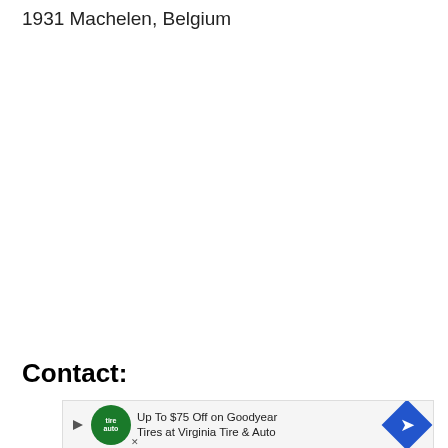1931 Machelen, Belgium
Contact:
[Figure (other): Advertisement banner: Up To $75 Off on Goodyear Tires at Virginia Tire & Auto, with tire auto logo and blue diamond arrow icon]